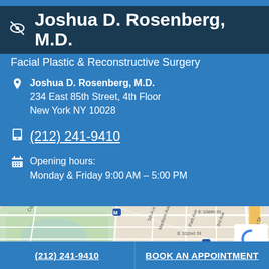Joshua D. Rosenberg, M.D.
Facial Plastic & Reconstructive Surgery
Joshua D. Rosenberg, M.D.
234 East 85th Street, 4th Floor
New York NY 10028
(212) 241-9410
Opening hours:
Monday & Friday 9:00 AM – 5:00 PM
[Figure (map): Google Maps screenshot showing Upper East Side Manhattan near Central Park, with streets including Columbus Ave, 5th Ave, Madison Ave, Park Ave, 3rd Ave, E 102nd St, E 106th St, FDR Dr, and label Solomon R.]
(212) 241-9410
BOOK AN APPOINTMENT